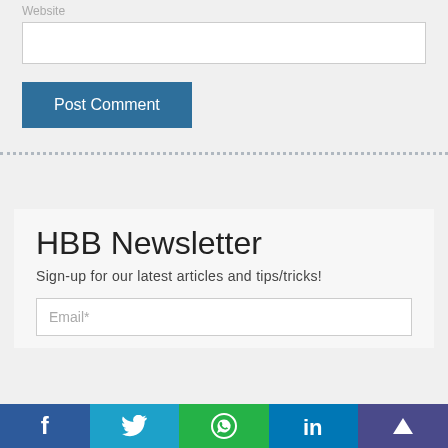Website
[Figure (screenshot): Empty text input box for Website field]
[Figure (screenshot): Post Comment button — steel blue rectangle]
[Figure (infographic): Dotted horizontal divider line]
HBB Newsletter
Sign-up for our latest articles and tips/tricks!
[Figure (screenshot): Email* input field placeholder]
[Figure (infographic): Social share bar with Facebook, Twitter, WhatsApp, LinkedIn, and scroll-to-top buttons]